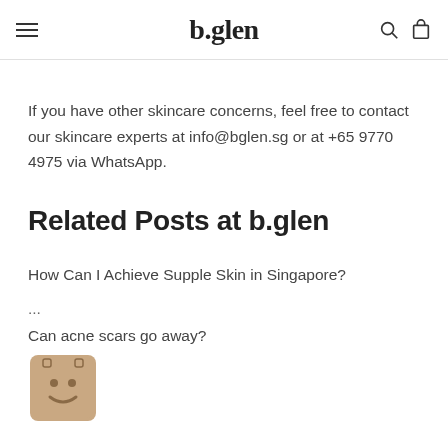b.glen
If you have other skincare concerns, feel free to contact our skincare experts at info@bglen.sg or at +65 9770 4975 via WhatsApp.
Related Posts at b.glen
How Can I Achieve Supple Skin in Singapore?
...
Can acne scars go away?
[Figure (illustration): Small chatbot/bot icon: a beige/tan square with a simple smiley face]
...
All You Need To Know About Sagging Pores